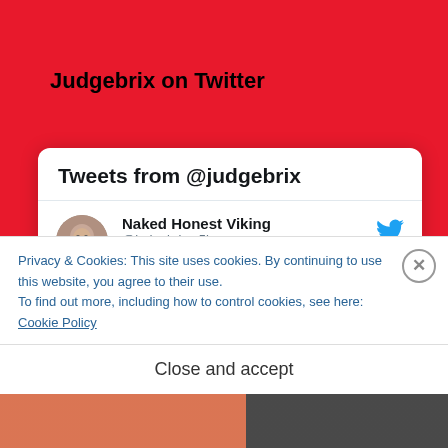Judgebrix on Twitter
[Figure (screenshot): Twitter widget card showing 'Tweets from @judgebrix' with a tweet from 'Naked Honest Viking' (@judgebrix · 5h) saying 'Homemade Naan bread served alongside', with Twitter bird logo and circular avatar photo]
Privacy & Cookies: This site uses cookies. By continuing to use this website, you agree to their use.
To find out more, including how to control cookies, see here: Cookie Policy
Close and accept